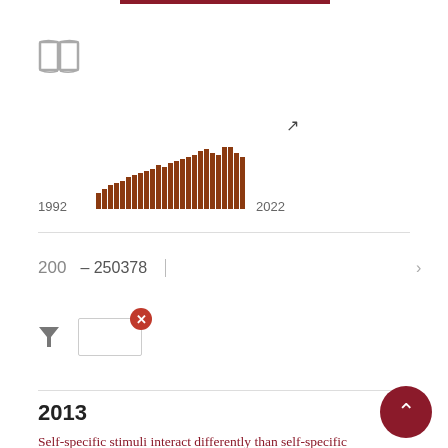[Figure (bar-chart): Publications over time]
200   - 250378   >
2013
Self-specific stimuli interact differently than self-specific stimuli with eyes-open versus eyes-closed spontaneous activity in auditory cortex